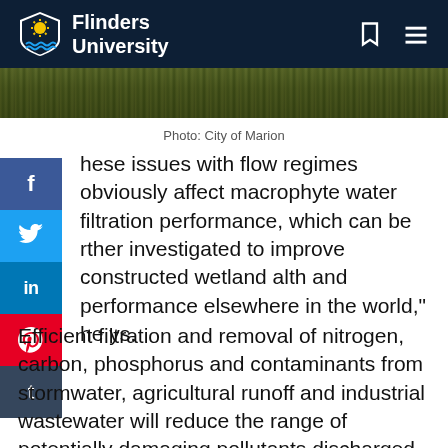Flinders University
[Figure (photo): Narrow photo strip showing wetland vegetation / reeds from above, credited to City of Marion]
Photo: City of Marion
hese issues with flow regimes obviously affect macrophyte water filtration performance, which can be rther investigated to improve constructed wetland alth and performance elsewhere in the world," he ys.
Efficient filtration and removal of nitrogen, carbon, phosphorus and contaminants from stormwater, agricultural runoff and industrial wastewater will reduce the range of potentially damaging pollutants discharged into the surrounding environments and